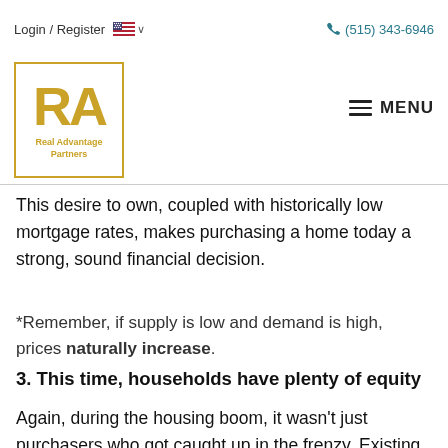Login / Register  🇺🇸 ∨   (515) 343-6946
[Figure (logo): Real Advantage Partners logo — gold RA letters inside a gold square border with text 'Real Advantage Partners' below]
This desire to own, coupled with historically low mortgage rates, makes purchasing a home today a strong, sound financial decision.
*Remember, if supply is low and demand is high, prices naturally increase.
3. This time, households have plenty of equity
Again, during the housing boom, it wasn't just purchasers who got caught up in the frenzy. Existing homeowners started using their homes like ATM machines. There was a wave of cash-out refinances…